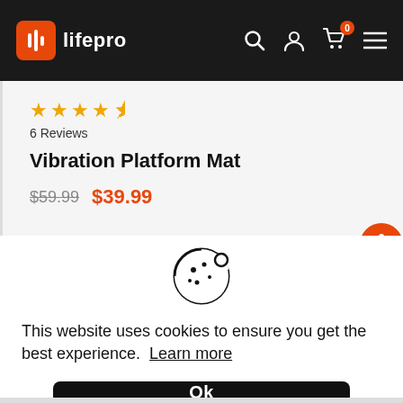lifepro
6 Reviews
Vibration Platform Mat
$59.99  $39.99
[Figure (screenshot): Cookie consent popup with cookie icon, message text, and Ok button]
This website uses cookies to ensure you get the best experience. Learn more